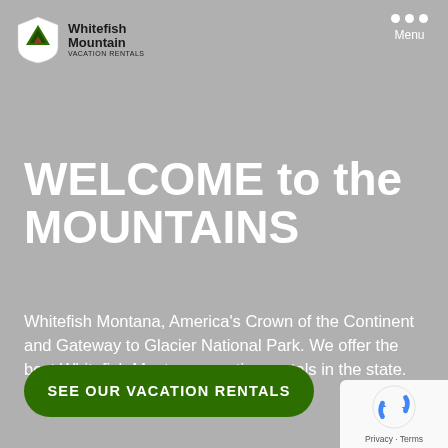[Figure (logo): Whitefish Mountain Vacation Rentals logo — green mountain/leaf icon with bold text]
WELCOME to the MOUNTAINS
Whitefish Montana, America's Crown of the Continent and Gateway to Glacier National Park. We offer the best Whitefish Montana vacation rentals in the state.
[Figure (other): Green rounded rectangle button with text SEE OUR VACATION RENTALS]
[Figure (logo): reCAPTCHA badge bottom right — Privacy · Terms]